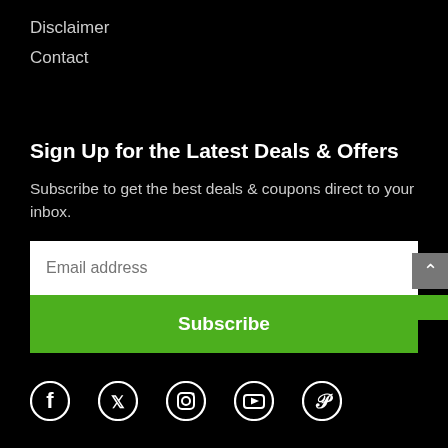Disclaimer
Contact
Sign Up for the Latest Deals & Offers
Subscribe to get the best deals & coupons direct to your inbox.
[Figure (other): Email address input field with white background and placeholder text 'Email address']
[Figure (other): Green Subscribe button]
[Figure (other): Social media icons row: Facebook, Twitter, Instagram, YouTube, Pinterest]